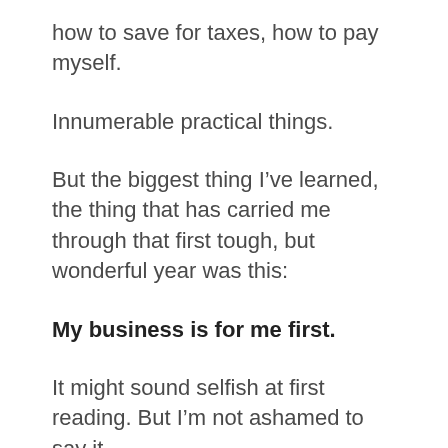how to save for taxes, how to pay myself.
Innumerable practical things.
But the biggest thing I’ve learned, the thing that has carried me through that first tough, but wonderful year was this:
My business is for me first.
It might sound selfish at first reading. But I’m not ashamed to say it.
In a small business world where ‘the customer is always right,’ in an entrepreneur world where